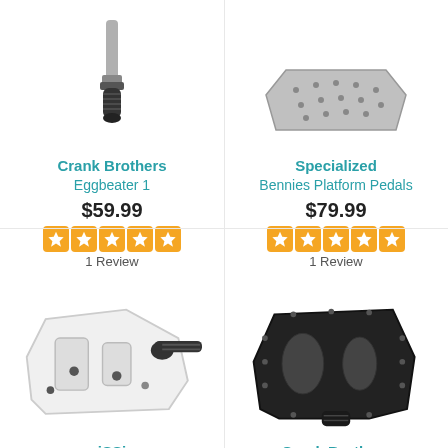[Figure (photo): Crank Brothers Eggbeater 1 pedal - top portion visible, clipless bike pedal with spindle]
Crank Brothers
Eggbeater 1
$59.99
1 Review
[Figure (photo): Specialized Bennies Platform Pedals - top portion visible, flat platform pedals]
Specialized
Bennies Platform Pedals
$79.99
1 Review
[Figure (photo): iSSi white clipless bike pedal with black spindle]
iSSi
[Figure (photo): Crank Brothers black platform pedal]
Crank Brothers